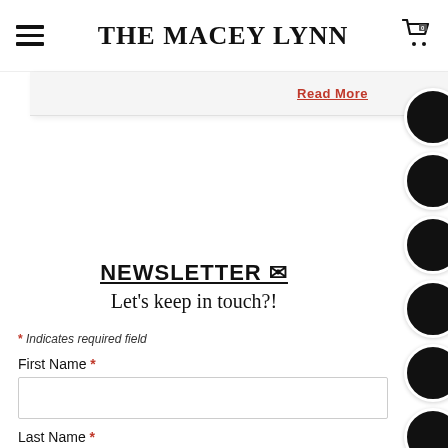THE MACEY LYNN
Read More
NEWSLETTER
Let's keep in touch?!
* Indicates required field
First Name *
Last Name *